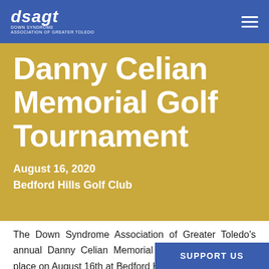dsagt DOWN SYNDROME ASSOCIATION OF GREATER TOLEDO
Danny Celian Memorial Golf Tournament
August 16, 2020
Bedford Hills Golf Club
The Down Syndrome Association of Greater Toledo's annual Danny Celian Memorial Golf Tournament took place on August 16th at Bedford Hills Golf Course.
SUPPORT US